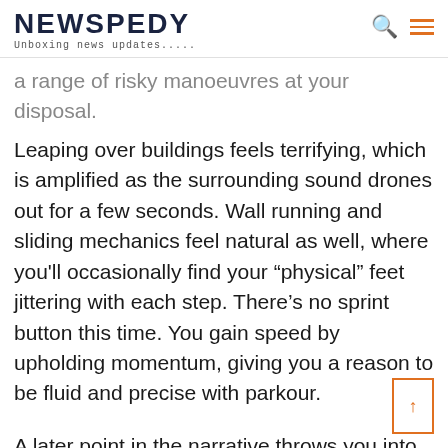NEWSPEDY
Unboxing news updates.....
a range of risky manoeuvres at your disposal.
Leaping over buildings feels terrifying, which is amplified as the surrounding sound drones out for a few seconds. Wall running and sliding mechanics feel natural as well, where you'll occasionally find your “physical” feet jittering with each step. There’s no sprint button this time. You gain speed by upholding momentum, giving you a reason to be fluid and precise with parkour.
A later point in the narrative throws you into a new district, one adorned with tall skyscrapers